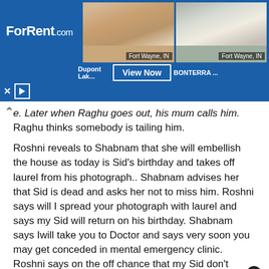[Figure (screenshot): ForRent.com advertisement banner showing Fort Wayne IN apartment listings with 'View Now' button]
e. Later when Raghu goes out, his mum calls him. Raghu thinks somebody is tailing him.
Roshni reveals to Shabnam that she will embellish the house as today is Sid's birthday and takes off laurel from his photograph.. Shabnam advises her that Sid is dead and asks her not to miss him. Roshni says will I spread your photograph with laurel and says my Sid will return on his birthday. Shabnam says Iwill take you to Doctor and says very soon you may get conceded in mental emergency clinic. Roshni says on the off chance that my Sid don't return today, at that point I will acknowledge that he is dead. Shabnam
[Figure (screenshot): Notification popup showing 'Crimes of the Future (2022)' with movie poster thumbnail, 3 hours ago]